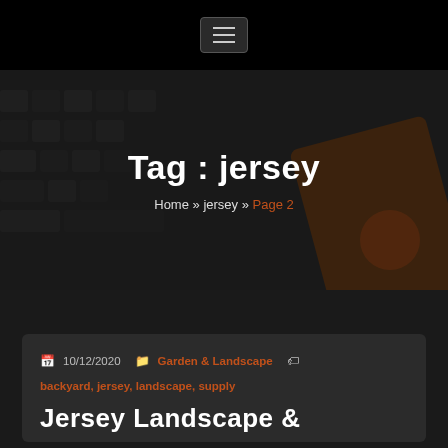Navigation menu button (hamburger)
Tag : jersey
Home » jersey » Page 2
10/12/2020   Garden & Landscape   backyard, jersey, landscape, supply
Jersey Landscape &